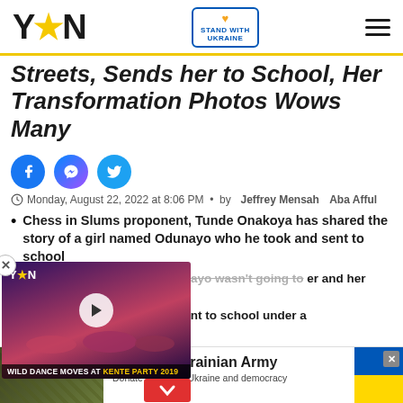YEN — Stand With Ukraine
Streets, Sends her to School, Her Transformation Photos Wows Many
[Figure (other): Social share icons: Facebook, Messenger, Twitter]
Monday, August 22, 2022 at 8:06 PM • by Jeffrey Mensah Aba Afful
Chess in Slums proponent, Tunde Onakoya has shared the story of a girl named Odunayo who he took and sent to school
According to Onakoya, Odunayo wasn't going to her and her brother as they of Lagos
[Figure (screenshot): YEN video thumbnail showing 'WILD DANCE MOVES AT KENTE PARTY 2019' with women dancing, play button overlay, close button, and red down-arrow button]
ever changed for the better nt to school under a
[Figure (other): Ad banner: Support Ukrainian Army — Donate to defend Ukraine and democracy, with Ukrainian flag colors]